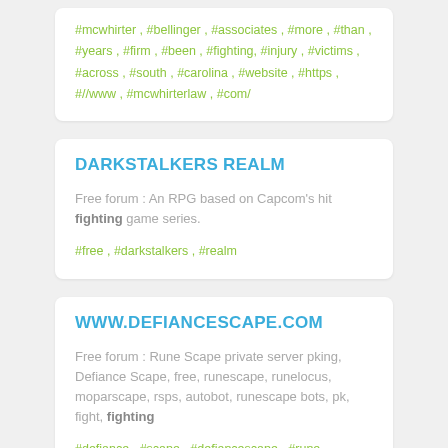#mcwhirter , #bellinger , #associates , #more , #than , #years , #firm , #been , #fighting, #injury , #victims , #across , #south , #carolina , #website , #https , #//www , #mcwhirterlaw , #com/
DARKSTALKERS REALM
Free forum : An RPG based on Capcom's hit fighting game series.
#free , #darkstalkers , #realm
WWW.DEFIANCESCAPE.COM
Free forum : Rune Scape private server pking, Defiance Scape, free, runescape, runelocus, moparscape, rsps, autobot, runescape bots, pk, fight, fighting
#defiance , #scape , #defiancescape , #rune , #